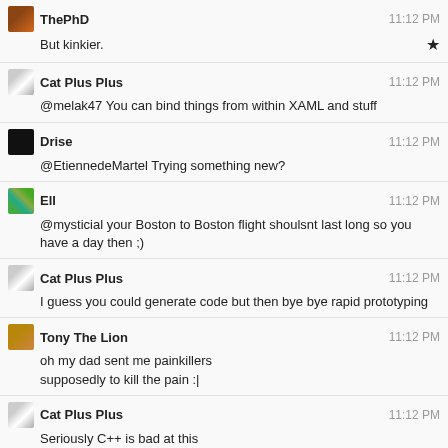ThePhD — 11:12 PM — But kinkier.
Cat Plus Plus — 11:12 PM — @melak47 You can bind things from within XAML and stuff
Drise — 11:12 PM — @EtiennedeMartel Trying something new?
Ell — 11:12 PM — @mysticial your Boston to Boston flight shoulsnt last long so you have a day then ;)
Cat Plus Plus — 11:12 PM — I guess you could generate code but then bye bye rapid prototyping
Tony The Lion — 11:12 PM — oh my dad sent me painkillers
supposedly to kill the pain :|
Cat Plus Plus — 11:12 PM — Seriously C++ is bad at this
melak47 — 11:12 PM — ._.
Etienne de Martel — 11:12 PM — @Drise Follow the replies.